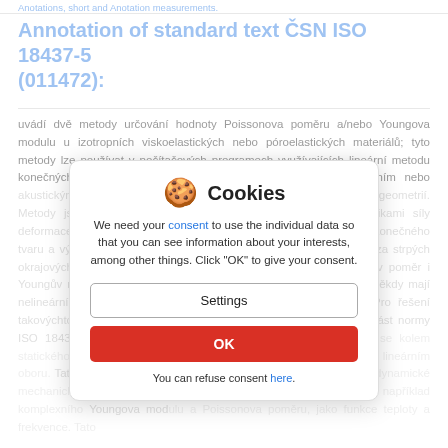Anotations, short and Anotation measurements.
Annotation of standard text ČSN ISO 18437-5 (011472):
uvádí dvě metody určování hodnoty Poissonova poměru a/nebo Youngova modulu u izotropních viskoelastických nebo póroelastických materiálů; tyto metody lze používat v počítačových programech využívajících lineární metodu konečných prvků (MKP) nebo jiné numerické přístupy k vibračním nebo akustickým problémům ve viskoelastických konstrukcích se složitou geometrií. Metody jsou založeny na porovnání mezi měřenými charakteristikami síly deformace nebo tuhosti obou vzorků koaxiálního válcovitého kotouče konečného tvaru a výpočty MKP provedenými jako funkce Poissonova poměru za strpých okrajových podmínek. Poissonův poměr, Youngův modul, Poissonův poměr i Youngův modul. Uvedené materiály se chovají jako nestlačitelné a někdy mají nelineární vlastnosti, zvláště při velkých statických deformacích. Pro řešení takovýchto problémů musí být schopny počítačové programy. Tato část normy ISO 18437, ve které se uvažují jen malé deformace vyskytující se kolem statického předpětí, a proto jsou přinejméně a vhodně definovány v lineárním oboru. Tato části normy ISO 18437 a v rámci ISO/DIS 100 se vyjma dynamické mechanické vlastnosti vztahuje na stanovení základních parametrů, například komplexního Youngova modulu a Poissonova poměru, jako funkce teploty a frekvence. Tato část normy ISO 18437 se nevztahuje na pevné neelastické materiály (bez utlumení) (viz ISO 17762, ISO 18437-2 a ISO 18437-3).
Cookies
We need your consent to use the individual data so that you can see information about your interests, among other things. Click "OK" to give your consent.
Settings
OK
You can refuse consent here.